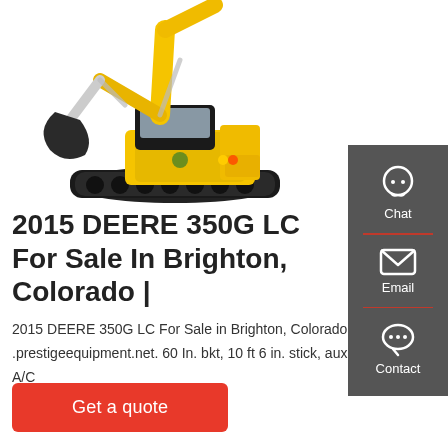[Figure (photo): Yellow John Deere 350G LC excavator with black tracks on white background, boom extended upward with bucket]
2015 DEERE 350G LC For Sale In Brighton, Colorado |
2015 DEERE 350G LC For Sale in Brighton, Colorado at .prestigeequipment.net. 60 In. bkt, 10 ft 6 in. stick, aux hyd, A/C
[Figure (infographic): Dark gray sidebar with Chat (headset icon), Email (envelope icon), and Contact (speech bubble icon) buttons separated by red dividers]